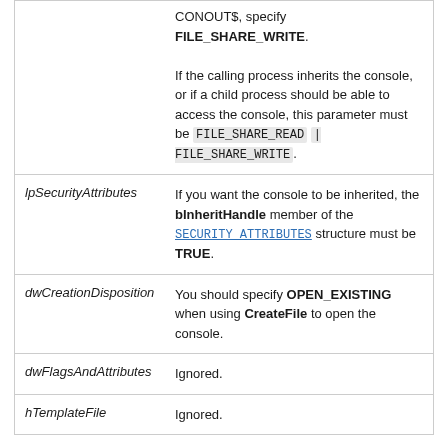| Parameter | Description |
| --- | --- |
|  | CONOUT$, specify FILE_SHARE_WRITE.

If the calling process inherits the console, or if a child process should be able to access the console, this parameter must be FILE_SHARE_READ | FILE_SHARE_WRITE. |
| lpSecurityAttributes | If you want the console to be inherited, the bInheritHandle member of the SECURITY_ATTRIBUTES structure must be TRUE. |
| dwCreationDisposition | You should specify OPEN_EXISTING when using CreateFile to open the console. |
| dwFlagsAndAttributes | Ignored. |
| hTemplateFile | Ignored. |